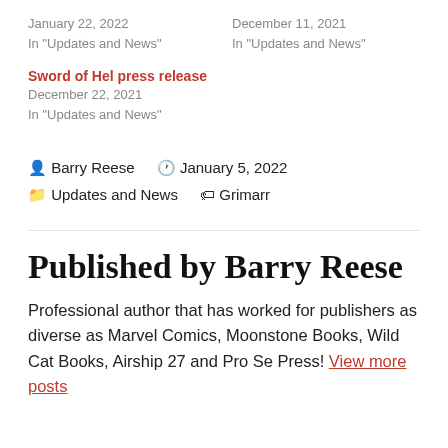January 22, 2022
In "Updates and News"
December 11, 2021
In "Updates and News"
Sword of Hel press release
December 22, 2021
In "Updates and News"
Barry Reese   January 5, 2022
Updates and News   Grimarr
Published by Barry Reese
Professional author that has worked for publishers as diverse as Marvel Comics, Moonstone Books, Wild Cat Books, Airship 27 and Pro Se Press! View more posts